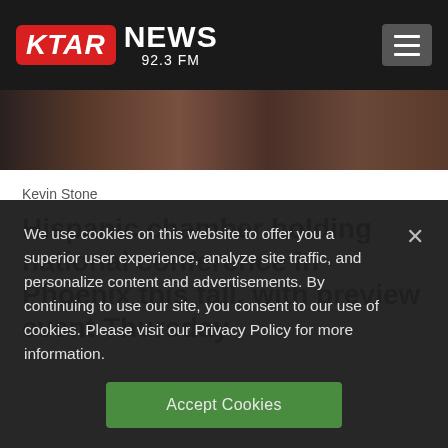KTAR NEWS 92.3 FM
[Figure (photo): Partial photograph showing people seated at a table, cropped at the top of the page]
Kevin Stone
Hispanic chamber holding national conference in Phoenix this fall, with preview event Thursday
We use cookies on this website to offer you a superior user experience, analyze site traffic, and personalize content and advertisements. By continuing to use our site, you consent to our use of cookies. Please visit our Privacy Policy for more information.
Accept Cookies